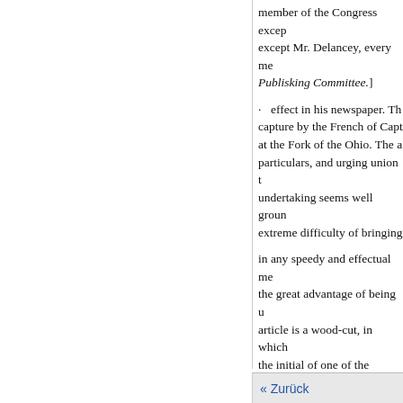member of the Congress except Mr. Delancey, every me Publisking Committee.]
effect in his newspaper. The capture by the French of Capta at the Fork of the Ohio. The a particulars, and urging union t undertaking seems well groun extreme difficulty of bringing
in any speedy and effectual me the great advantage of being u article is a wood-cut, in which the initial of one of the Coloni well known, that this device w In some of the newspapers of t across the page, and accompan
[As the Plan of Union whic to, is imperfect, it is thought a Writings of Franklin. It will be
« Zurück